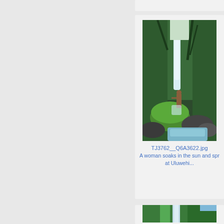[Figure (photo): A woman stands in front of Uluwehi waterfall surrounded by lush green tropical vegetation and mossy rocks with water flowing]
TJ3762__Q6A3622.jpg
A woman soaks in the sun and spray at Uluwehi...
[Figure (photo): A tall waterfall cascading down through dense tropical forest with a misty spray at the base]